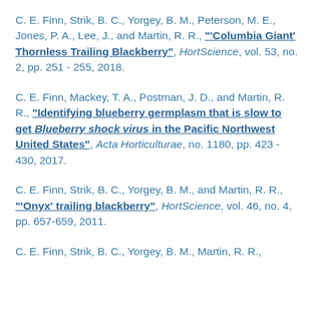C. E. Finn, Strik, B. C., Yorgey, B. M., Peterson, M. E., Jones, P. A., Lee, J., and Martin, R. R., "'Columbia Giant' Thornless Trailing Blackberry", HortScience, vol. 53, no. 2, pp. 251 - 255, 2018.
C. E. Finn, Mackey, T. A., Postman, J. D., and Martin, R. R., "Identifying blueberry germplasm that is slow to get Blueberry shock virus in the Pacific Northwest United States", Acta Horticulturae, no. 1180, pp. 423 - 430, 2017.
C. E. Finn, Strik, B. C., Yorgey, B. M., and Martin, R. R., "'Onyx' trailing blackberry", HortScience, vol. 46, no. 4, pp. 657-659, 2011.
C. E. Finn, Strik, B. C., Yorgey, B. M., Martin, R. R.,